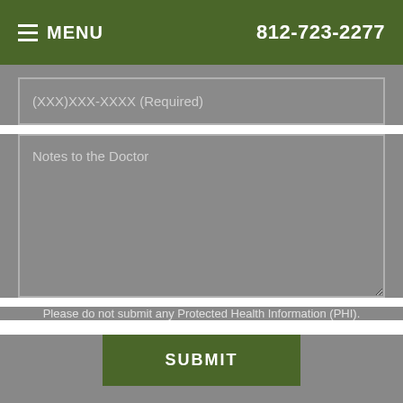MENU  812-723-2277
(XXX)XXX-XXXX (Required)
Notes to the Doctor
Please do not submit any Protected Health Information (PHI).
SUBMIT
Our Location